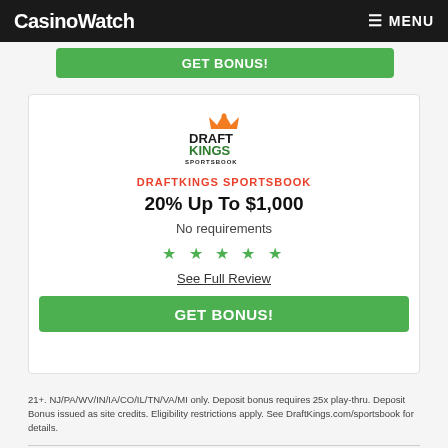CasinoWatch  MENU
GET BONUS!
[Figure (logo): DraftKings Sportsbook logo with orange crown and green/black text]
DRAFTKINGS SPORTSBOOK
20% Up To $1,000
No requirements
★ ★ ★ ★ ★
See Full Review
GET BONUS!
21+. NJ/PA/WV/IN/IA/CO/IL/TN/VA/MI only. Deposit bonus requires 25x play-thru. Deposit Bonus issued as site credits. Eligibility restrictions apply. See DraftKings.com/sportsbook for details.